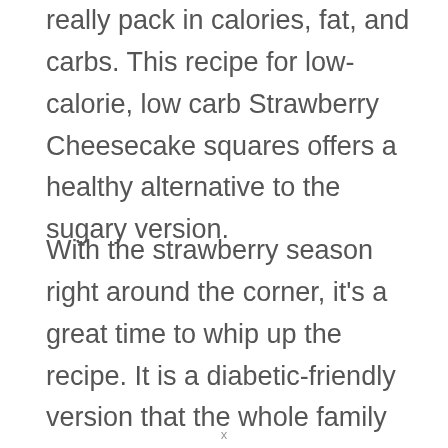really pack in calories, fat, and carbs. This recipe for low-calorie, low carb Strawberry Cheesecake squares offers a healthy alternative to the sugary version.
With the strawberry season right around the corner, it's a great time to whip up the recipe. It is a diabetic-friendly version that the whole family can enjoy.
x